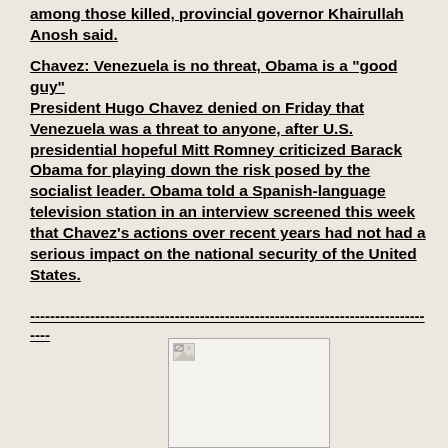among those killed, provincial governor Khairullah Anosh said.
Chavez: Venezuela is no threat, Obama is a "good guy"
President Hugo Chavez denied on Friday that Venezuela was a threat to anyone, after U.S. presidential hopeful Mitt Romney criticized Barack Obama for playing down the risk posed by the socialist leader. Obama told a Spanish-language television station in an interview screened this week that Chavez's actions over recent years had not had a serious impact on the national security of the United States.
-----------------------------------------------------------------------------------
[Figure (photo): A partially loaded or broken image placeholder shown as a small icon in the upper-left of an image box.]